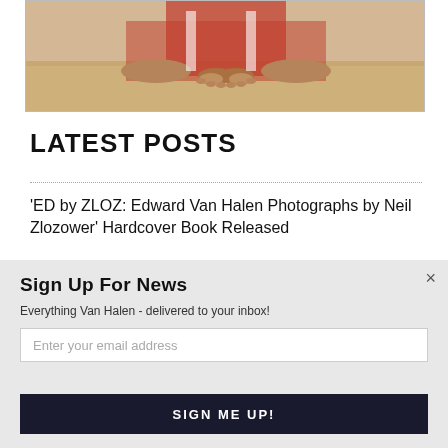[Figure (photo): Cropped photo showing hands resting on sand, person wearing red and white clothing lying on beach]
LATEST POSTS
'ED by ZLOZ: Edward Van Halen Photographs by Neil Zlozower' Hardcover Book Released
City Of Pasadena To Officially Dedicate Park Stage To Van Halen Next Month
Sign Up For News
Everything Van Halen - delivered to your inbox!
Enter your email address
SIGN ME UP!